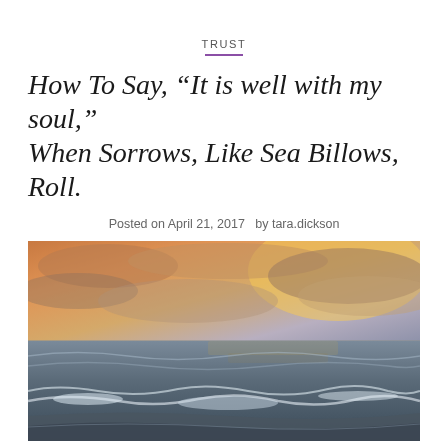TRUST
How To Say, “It is well with my soul,” When Sorrows, Like Sea Billows, Roll.
Posted on April 21, 2017  by tara.dickson
[Figure (photo): Photograph of a beach at sunset with rolling waves and an orange and purple sky reflecting on the water.]
We went to the beach this past week. It was all the things! It